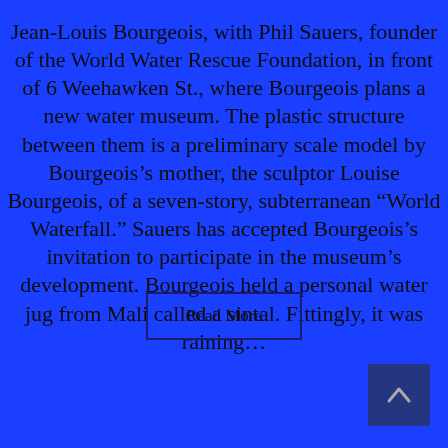Jean-Louis Bourgeois, with Phil Sauers, founder of the World Water Rescue Foundation, in front of 6 Weehawken St., where Bourgeois plans a new water museum. The plastic structure between them is a preliminary scale model by Bourgeois’s mother, the sculptor Louise Bourgeois, of a seven-story, subterranean “World Waterfall.” Sauers has accepted Bourgeois’s invitation to participate in the museum’s development. Bourgeois held a personal water jug from Mali called a sintal. Fittingly, it was raining…
Read More